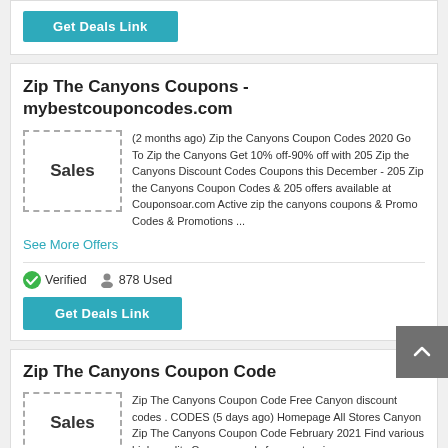[Figure (other): Get Deals Link button (teal/cyan colored button)]
Zip The Canyons Coupons - mybestcouponcodes.com
[Figure (other): Sales placeholder box with dashed border]
(2 months ago) Zip the Canyons Coupon Codes 2020 Go To Zip the Canyons Get 10% off-90% off with 205 Zip the Canyons Discount Codes Coupons this December - 205 Zip the Canyons Coupon Codes & 205 offers available at Couponsoar.com Active zip the canyons coupons & Promo Codes & Promotions ...
See More Offers
Verified   878 Used
[Figure (other): Get Deals Link button (teal/cyan colored button)]
Zip The Canyons Coupon Code
[Figure (other): Sales placeholder box with dashed border]
Zip The Canyons Coupon Code Free Canyon discount codes . CODES (5 days ago) Homepage All Stores Canyon Zip The Canyons Coupon Code February 2021 Find various high-quality Canyon goods from extensive